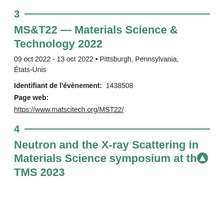3
MS&T22 — Materials Science & Technology 2022
09 oct 2022 - 13 oct 2022 • Pittsburgh, Pennsylvania, États-Unis
Identifiant de l'évènement:  1438508
Page web:
https://www.matscitech.org/MST22/
4
Neutron and the X-ray Scattering in Materials Science symposium at the TMS 2023